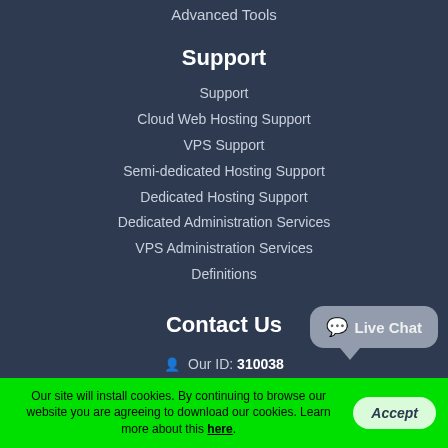Advanced Tools
Support
Support
Cloud Web Hosting Support
VPS Support
Semi-dedicated Hosting Support
Dedicated Hosting Support
Dedicated Administration Services
VPS Administration Services
Definitions
Contact Us
Our ID: 310038
US: +1-855-211-0932
US: +1-727-546-HOST(4678)
Live Chat
Our site will install cookies. By continuing to browse our website you are agreeing to download our cookies. Learn more about this here.